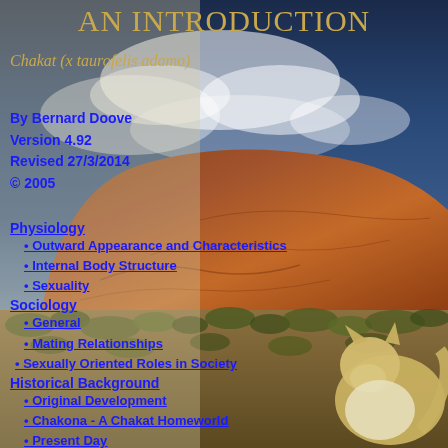[Figure (photo): Photograph of Uluru (Ayers Rock) in Australia with a dramatic stormy blue sky background, and a partial illustration of a chakat (anthropomorphic creature) in the lower right corner. Tan/beige desert landscape with scrubby vegetation in the foreground.]
AN INTRODUCTION
Chakat (x taurofelis adamo)
By Bernard Doove
Version 4.92
Revised 27/3/2014
© 2005
Physiology
• Outward Appearance and Characteristics
• Internal Body Structure
• Sexuality
Sociology
• General
• Mating Relationships
• Sexually Oriented Roles in Society
Historical Background
• Original Development
• Chakona - A Chakat Homeworld
• Present Day
Political and Social Structure of Chakona
Illustrations